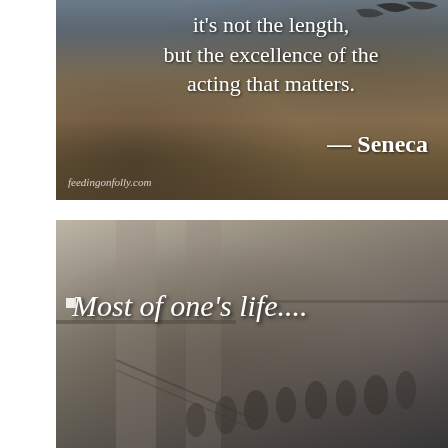[Figure (photo): Outdoor landscape photo with dark sky and dry grassy field, overlaid with a quote: 'it's not the length, but the excellence of the acting that matters. — Seneca' with watermark feedingonfolly.com]
[Figure (photo): Black and white interior photo of a public space (museum or gallery) with many people on stairs and walkways, overlaid with text 'Most of one's life....']